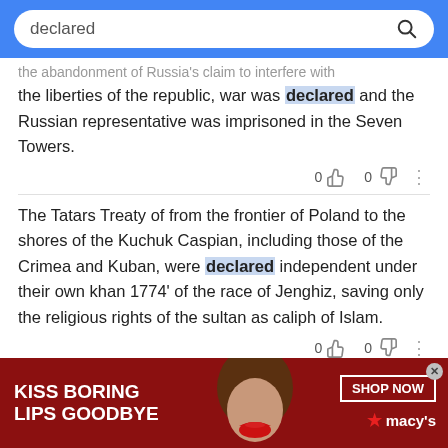declared [search bar]
the abandonment of Russia's claim to interfere with the liberties of the republic, war was declared and the Russian representative was imprisoned in the Seven Towers.
0 [thumbs up] 0 [thumbs down]
The Tatars Treaty of from the frontier of Poland to the shores of the Kuchuk Caspian, including those of the Crimea and Kuban, were declared independent under their own khan 1774' of the race of Jenghiz, saving only the religious rights of the sultan as caliph of Islam.
0 [thumbs up] 0 [thumbs down]
[Figure (infographic): Advertisement banner: red background with 'KISS BORING LIPS GOODBYE' text on left, woman's face with red lips in center, 'SHOP NOW' button and Macy's star logo on right. Close X button top right.]